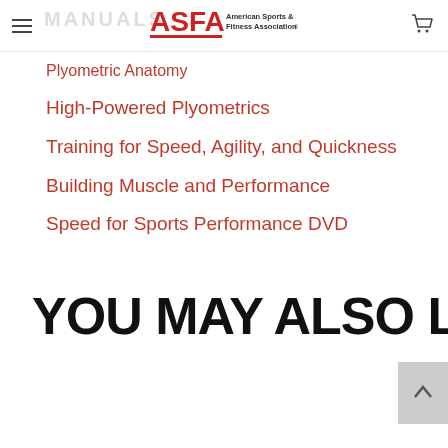MANUALS — American Sports & Fitness Association
Plyometric Anatomy
High-Powered Plyometrics
Training for Speed, Agility, and Quickness
Building Muscle and Performance
Speed for Sports Performance DVD
YOU MAY ALSO LIKE